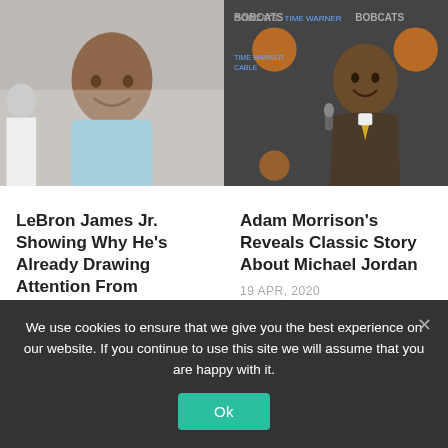[Figure (photo): Young boy smiling at sports event (left photo)]
[Figure (photo): Man in suit at Charlotte Bobcats press conference backdrop (right photo)]
LeBron James Jr. Showing Why He's Already Drawing Attention From Kentucky And Duke
22 JUL, 2018
Adam Morrison's Reveals Classic Story About Michael Jordan
19 APR, 2020
We use cookies to ensure that we give you the best experience on our website. If you continue to use this site we will assume that you are happy with it.